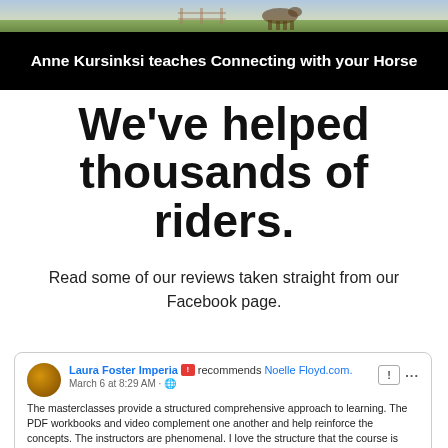[Figure (photo): Outdoor scene with horse and rider, used as banner background image]
Anne Kursinksi teaches Connecting with your Horse
We've helped thousands of riders.
Read some of our reviews taken straight from our Facebook page.
[Figure (screenshot): Facebook review card from Laura Foster Imperia recommending Noelle Floyd.com. Dated March 6 at 8:29 AM. Review text: The masterclasses provide a structured comprehensive approach to learning. The PDF workbooks and video complement one another and help reinforce the concepts. The instructors are phenomenal. I love the structure that the course is providing me in my day to day training. I study before I ride, then journal my experience, and review the exercise again. 5 star experience! Thank you so much. This course has completely changed my riding experience.]